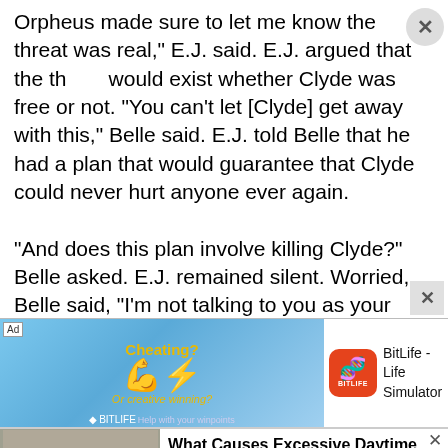Orpheus made sure to let me know the threat was real," E.J. said. E.J. argued that the th[reat] would exist whether Clyde was free or not. "You can't let [Clyde] get away with this," Belle said. E.J. told Belle that he had a plan that would guarantee that Clyde could never hurt anyone ever again.

"And does this plan involve killing Clyde?" Belle asked. E.J. remained silent. Worried, Belle said, "I'm not talking to you as your lawyer now. I'm talking to you as someone
[Figure (screenshot): Mobile advertisement banner for BitLife - Life Simulator app. Left portion shows animated graphic with 'Cheating?' text, flexing arm emoji, 'Or creative winning?' text, BitLife branding on blue ray burst background. Right portion shows BitLife app icon (orange rounded square with sperm symbol) and 'BitLife - Life Simulator' text.]
[Figure (photo): Bottom advertisement showing photo of elderly man sleeping/resting in a chair with arms crossed, alongside text 'What Causes Excessive Daytime Sleepiness? Some May Wish The...' with source 'Narcolepsy | Search Ads | Sponsored']